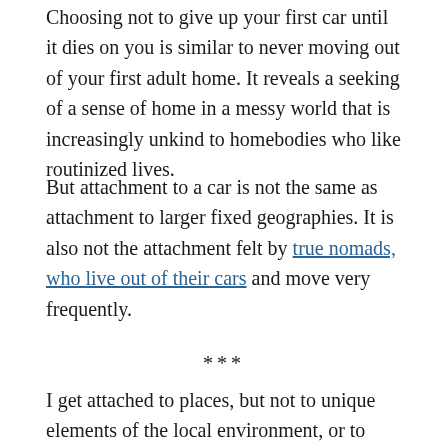Choosing not to give up your first car until it dies on you is similar to never moving out of your first adult home. It reveals a seeking of a sense of home in a messy world that is increasingly unkind to homebodies who like routinized lives.
But attachment to a car is not the same as attachment to larger fixed geographies. It is also not the attachment felt by true nomads, who live out of their cars and move very frequently.
***
I get attached to places, but not to unique elements of the local environment, or to specific long-term residents. Rather, I get attached to my own comfortable rituals in a given city; my own meanings (but not my own arrangements) imposed on external reality. It is a read-only attachment, but the reading is a rich enough process that the raw material does not matter. So I can get attached to what others would consider wastelands of strip